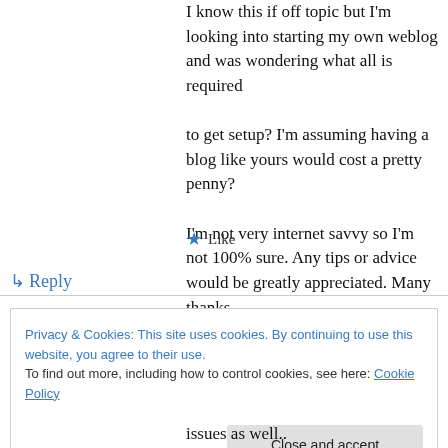I know this if off topic but I'm looking into starting my own weblog and was wondering what all is required to get setup? I'm assuming having a blog like yours would cost a pretty penny? I'm not very internet savvy so I'm not 100% sure. Any tips or advice would be greatly appreciated. Many thanks
★ Like
↳ Reply
Privacy & Cookies: This site uses cookies. By continuing to use this website, you agree to their use. To find out more, including how to control cookies, see here: Cookie Policy
Close and accept
issues as well..